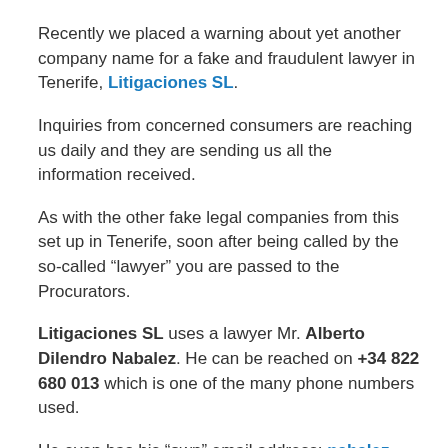Recently we placed a warning about yet another company name for a fake and fraudulent lawyer in Tenerife, Litigaciones SL.
Inquiries from concerned consumers are reaching us daily and they are sending us all the information received.
As with the other fake legal companies from this set up in Tenerife, soon after being called by the so-called “lawyer” you are passed to the Procurators.
Litigaciones SL uses a lawyer Mr. Alberto Dilendro Nabalez. He can be reached on +34 822 680 013 which is one of the many phone numbers used.
He even has his “own” email address: nabalez-abogados@consultant.com